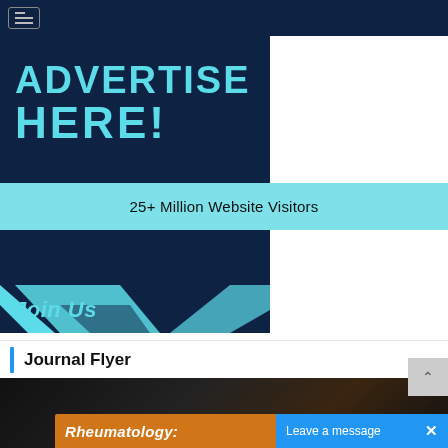[Figure (screenshot): Navigation bar with hamburger menu icon on dark navy background]
[Figure (infographic): Dark navy advertisement banner with cyan text reading 'Advertise HERE!']
25+ Million Website Visitors
[Figure (infographic): Dark navy banner with cyan geometric triangles and italic bold text 'Join Us']
Journal Flyer
[Figure (photo): Dark journal flyer image with orange 'Rheumatology:' label bar and blue 'Leave a message' chat overlay]